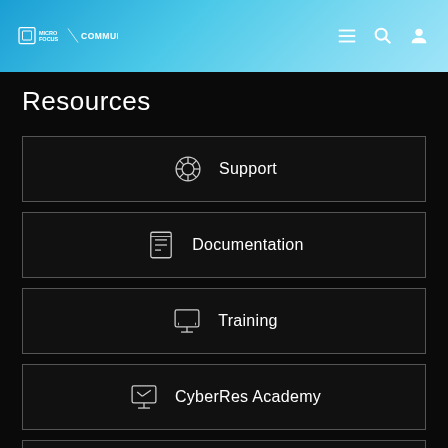Micro Focus Community
Resources
Support
Documentation
Training
CyberRes Academy
Partner Portal